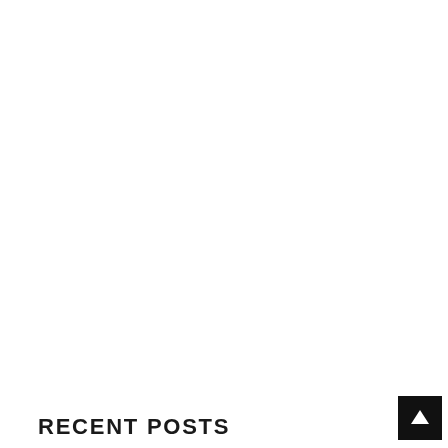RECENT POSTS
[Figure (other): Black square button with white upward arrow icon (scroll-to-top button)]